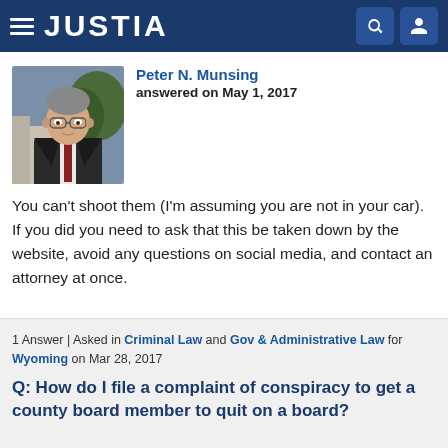JUSTIA
[Figure (photo): Professional headshot of attorney Peter N. Munsing in dark suit]
Peter N. Munsing
answered on May 1, 2017

You can't shoot them (I'm assuming you are not in your car). If you did you need to ask that this be taken down by the website, avoid any questions on social media, and contact an attorney at once.
1 Answer | Asked in Criminal Law and Gov & Administrative Law for Wyoming on Mar 28, 2017
Q: How do I file a complaint of conspiracy to get a county board member to quit on a board?